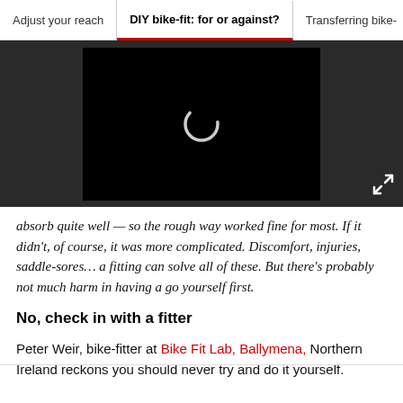Adjust your reach | DIY bike-fit: for or against? | Transferring bike-
[Figure (screenshot): Video player area with dark grey background, black video frame in center showing a loading spinner, and expand icon in bottom-right corner.]
absorb quite well — so the rough way worked fine for most. If it didn't, of course, it was more complicated. Discomfort, injuries, saddle-sores… a fitting can solve all of these. But there's probably not much harm in having a go yourself first.
No, check in with a fitter
Peter Weir, bike-fitter at Bike Fit Lab, Ballymena, Northern Ireland reckons you should never try and do it yourself.